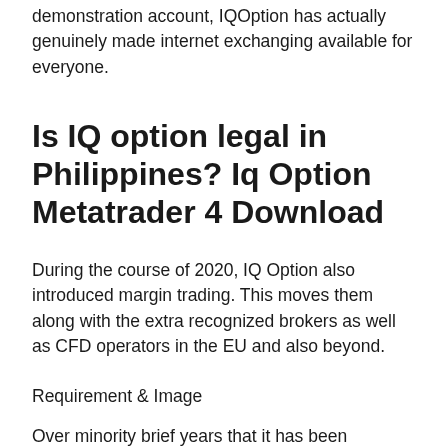demonstration account, IQOption has actually genuinely made internet exchanging available for everyone.
Is IQ option legal in Philippines? Iq Option Metatrader 4 Download
During the course of 2020, IQ Option also introduced margin trading. This moves them along with the extra recognized brokers as well as CFD operators in the EU and also beyond.
Requirement & Image
Over minority brief years that it has been